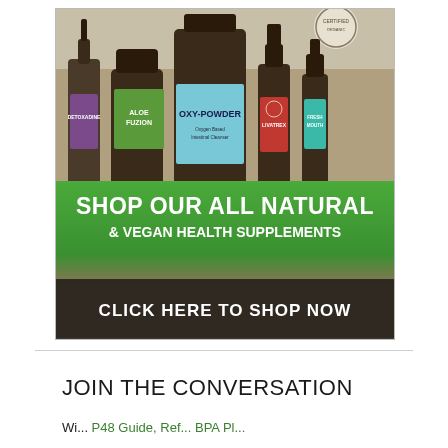[Figure (photo): Advertisement banner showing natural health supplement bottles (Detoxadine, Aloe Fuzion, Oxy-Powder, Livatrex, Fresh Mouth) on a wooden surface with green background text reading 'SHOP OUR ALL NATURAL & VEGAN HEALTH SUPPLEMENTS' and a dark button 'CLICK HERE TO SHOP NOW']
JOIN THE CONVERSATION
Wi... P48 Guide, Ref... BPA Pl...